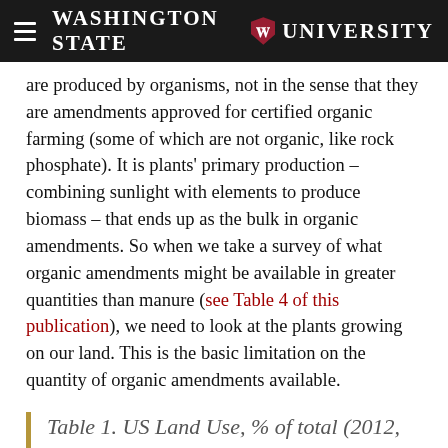Washington State University
are produced by organisms, not in the sense that they are amendments approved for certified organic farming (some of which are not organic, like rock phosphate). It is plants' primary production – combining sunlight with elements to produce biomass – that ends up as the bulk in organic amendments. So when we take a survey of what organic amendments might be available in greater quantities than manure (see Table 4 of this publication), we need to look at the plants growing on our land. This is the basic limitation on the quantity of organic amendments available.
Table 1. US Land Use, % of total (2012, USDA ERS Major Land Uses)